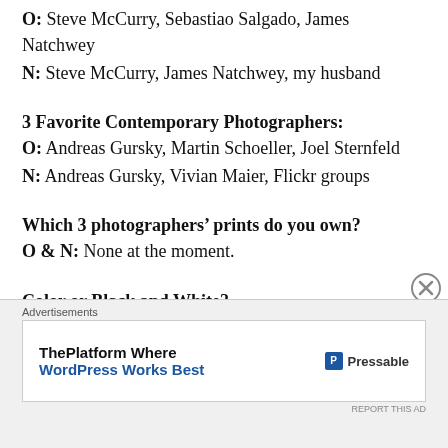O: Steve McCurry, Sebastiao Salgado, James Natchwey
N: Steve McCurry, James Natchwey, my husband
3 Favorite Contemporary Photographers:
O: Andreas Gursky, Martin Schoeller, Joel Sternfeld
N: Andreas Gursky, Vivian Maier, Flickr groups
Which 3 photographers’ prints do you own?
O & N: None at the moment.
Color or Black and White?
N: Mainly colour, but black and white does have a classic feel to it that makes certain pictures stand out.
Shoot Film or Digital ?
Advertisements
ThePlatform Where WordPress Works Best   Pressable